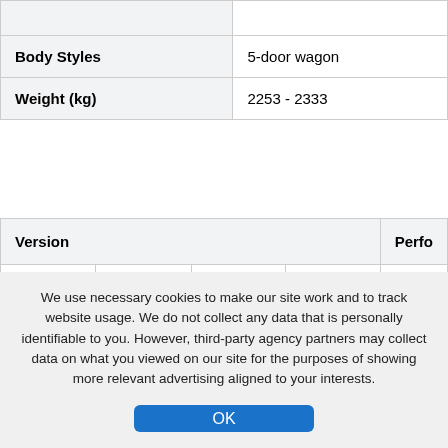|  |  |
| --- | --- |
| Body Styles | 5-door wagon |
| Weight (kg) | 2253 - 2333 |
| Version | Perfo |
| --- | --- |
| Engine | Gearbox | Power (hp) | Torque (Nm) | Fuel E (L/100 |
We use necessary cookies to make our site work and to track website usage. We do not collect any data that is personally identifiable to you. However, third-party agency partners may collect data on what you viewed on our site for the purposes of showing more relevant advertising aligned to your interests.